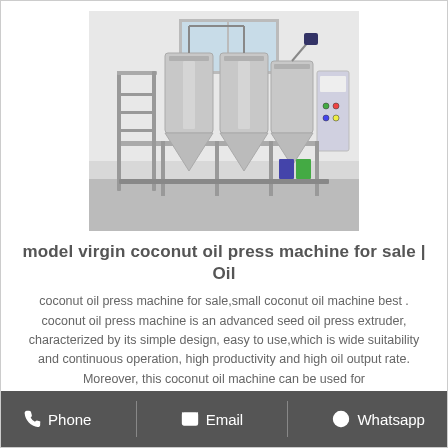[Figure (photo): Industrial coconut oil press machine with stainless steel tanks and frame, control panel on the right, metal stairs on the left, set in a room with white walls.]
model virgin coconut oil press machine for sale | Oil
coconut oil press machine for sale,small coconut oil machine best . coconut oil press machine is an advanced seed oil press extruder, characterized by its simple design, easy to use,which is wide suitability and continuous operation, high productivity and high oil output rate. Moreover, this coconut oil machine can be used for
Phone   Email   Whatsapp